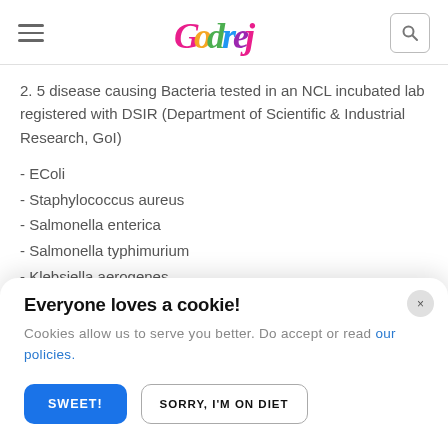Godrej (navigation bar with hamburger menu, Godrej logo, and search icon)
2. 5 disease causing Bacteria tested in an NCL incubated lab registered with DSIR (Department of Scientific & Industrial Research, GoI)
- EColi
- Staphylococcus aureus
- Salmonella enterica
- Salmonella typhimurium
- Klebsiella aerogenes
3. 12 Disease causing Allergens tested
Everyone loves a cookie! Cookies allow us to serve you better. Do accept or read our policies. [SWEET!] [SORRY, I'M ON DIET]